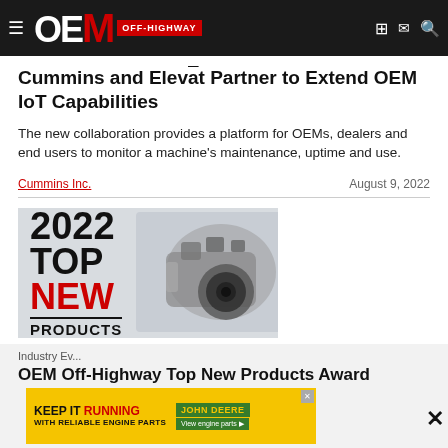OEM Off-Highway
Cummins and Elevāt Partner to Extend OEM IoT Capabilities
The new collaboration provides a platform for OEMs, dealers and end users to monitor a machine's maintenance, uptime and use.
Cummins Inc.  August 9, 2022
[Figure (photo): 2022 Top New Products advertisement showing a large industrial engine component on a grey background with bold text reading '2022 TOP NEW PRODUCTS']
Industry Ev...
OEM Off-Highway Top New Products Award
[Figure (infographic): John Deere advertisement banner: 'KEEP IT RUNNING WITH RELIABLE ENGINE PARTS' with John Deere logo and 'View engine parts' button in yellow and green]